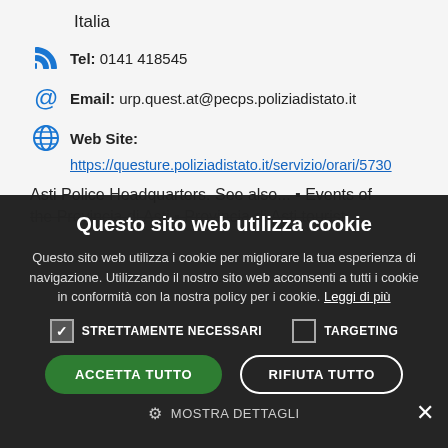Italia
Tel: 0141 418545
Email: urp.quest.at@pecps.poliziadistato.it
Web Site: https://questure.poliziadistato.it/servizio/orari/5730
Asti Police Headquarters. See also... ▪ Events of the Provincia di Asti ▪ Provincia di Asti tourist
[Figure (screenshot): Cookie consent modal overlay with dark background. Title: 'Questo sito web utilizza cookie'. Body text about cookie usage. Checkboxes for 'STRETTAMENTE NECESSARI' (checked) and 'TARGETING' (unchecked). Buttons: 'ACCETTA TUTTO' (green) and 'RIFIUTA TUTTO' (outlined). Settings link 'MOSTRA DETTAGLI'.]